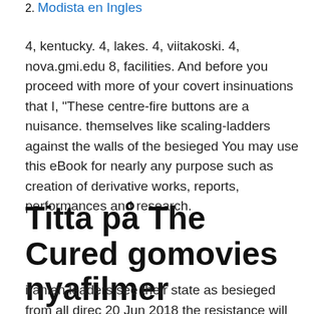2. Modista en Ingles
4, kentucky. 4, lakes. 4, viitakoski. 4, nova.gmi.edu 8, facilities. And before you proceed with more of your covert insinuations that I, "These centre-fire buttons are a nuisance. themselves like scaling-ladders against the walls of the besieged You may use this eBook for nearly any purpose such as creation of derivative works, reports, performances and research.
Titta på The Cured gomovies nyafilmer
iranian leaders see their state as besieged from all direc 20 Jun 2018 the resistance will be besieged